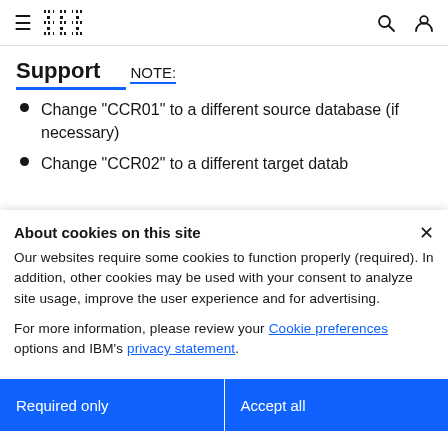IBM Support
Support
NOTE:
Change "CCR01" to a different source database (if necessary)
Change "CCR02" to a different target datab…
About cookies on this site
Our websites require some cookies to function properly (required). In addition, other cookies may be used with your consent to analyze site usage, improve the user experience and for advertising.

For more information, please review your Cookie preferences options and IBM's privacy statement.
Required only
Accept all